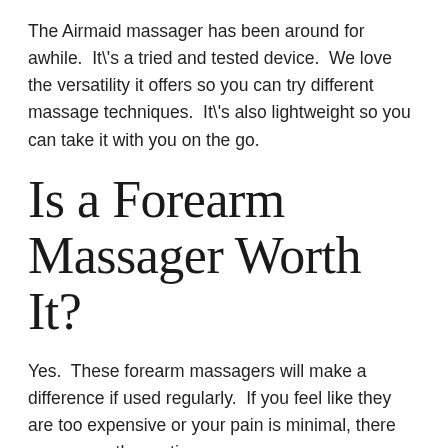The Airmaid massager has been around for awhile.  It\'s a tried and tested device.  We love the versatility it offers so you can try different massage techniques.  It\'s also lightweight so you can take it with you on the go.
Is a Forearm Massager Worth It?
Yes.  These forearm massagers will make a difference if used regularly.  If you feel like they are too expensive or your pain is minimal, there are some other options.